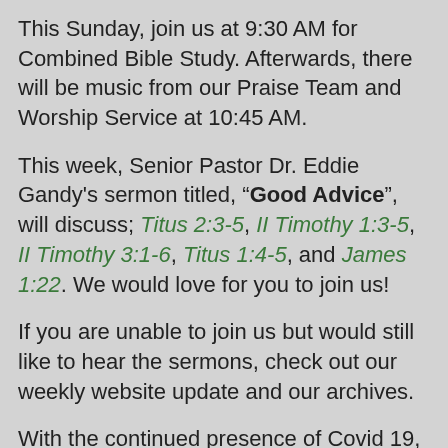This Sunday, join us at 9:30 AM for Combined Bible Study. Afterwards, there will be music from our Praise Team and Worship Service at 10:45 AM.
This week, Senior Pastor Dr. Eddie Gandy's sermon titled, "Good Advice", will discuss; Titus 2:3-5, II Timothy 1:3-5, II Timothy 3:1-6, Titus 1:4-5, and James 1:22. We would love for you to join us!
If you are unable to join us but would still like to hear the sermons, check out our weekly website update and our archives.
With the continued presence of Covid 19, we ask that you continue to follow CDC guidelines for health safety. Please maintain a six foot distance from anyone not in your immediate family (they live in the same house with you). Be safe, be considerate; if you need to cough or sneeze, please